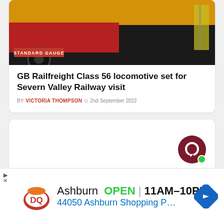[Figure (photo): Photo of a GB Railfreight Class 56 locomotive with yellow top and red body, with a 'STANDARD GAUGE' red badge overlay in the bottom left of the image]
GB Railfreight Class 56 locomotive set for Severn Valley Railway visit
BY VICTORIA THOMPSON  2nd September 2022
[Figure (other): Chat widget card with a dark red circular chat bubble icon and a green online indicator dot, plus a collapse/chevron button at the bottom left]
[Figure (other): Dairy Queen ad banner showing DQ logo, 'Ashburn OPEN 11AM-10PM' and '44050 Ashburn Shopping Plz St...' with a blue navigation arrow icon]